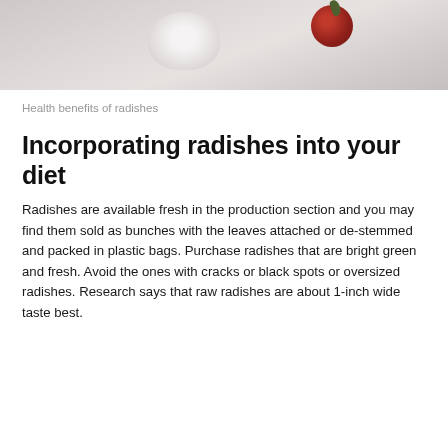[Figure (photo): Partial overhead photo of radishes and a bowl on a light gray background, cropped at top of page]
Health benefits of radishes
Incorporating radishes into your diet
Radishes are available fresh in the production section and you may find them sold as bunches with the leaves attached or de-stemmed and packed in plastic bags. Purchase radishes that are bright green and fresh. Avoid the ones with cracks or black spots or oversized radishes. Research says that raw radishes are about 1-inch wide taste best.